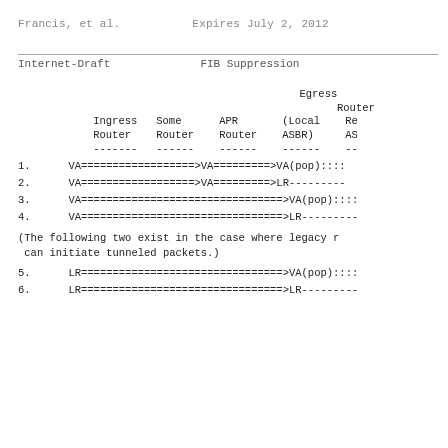Francis, et al.                Expires July 2, 2012
Internet-Draft                    FIB Suppression
Ingress   Some      APR       Egress Router
        Router    Router     Router    (Local ASBR)  Re AS
        -------   ------     ------    ------        --
1.      VA==================>VA=========>VA(pop)::::
2.      VA==================>VA=========>LR---------
3.      VA==============================>VA(pop)::::
4.      VA==============================>LR---------
(The following two exist in the case where legacy r can initiate tunneled packets.)
5.      LR==============================>VA(pop)::::
6.      LR==============================>LR---------